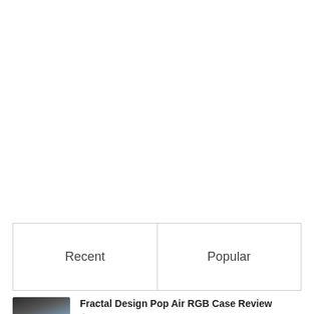[Figure (other): Tab navigation with two options: Recent and Popular]
Fractal Design Pop Air RGB Case Review
2 weeks ago